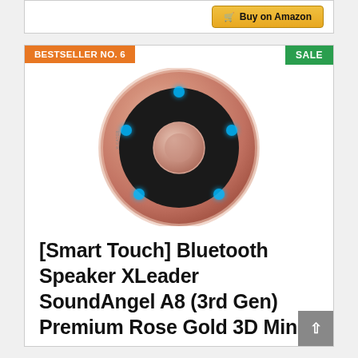[Figure (screenshot): Buy on Amazon button with shopping cart icon, gold/yellow gradient button]
BESTSELLER NO. 6
SALE
[Figure (photo): Rose gold circular Bluetooth speaker (XLeader SoundAngel A8 3rd Gen) with black face, blue LED lights, and central button, viewed from above]
[Smart Touch] Bluetooth Speaker XLeader SoundAngel A8 (3rd Gen) Premium Rose Gold 3D Mini